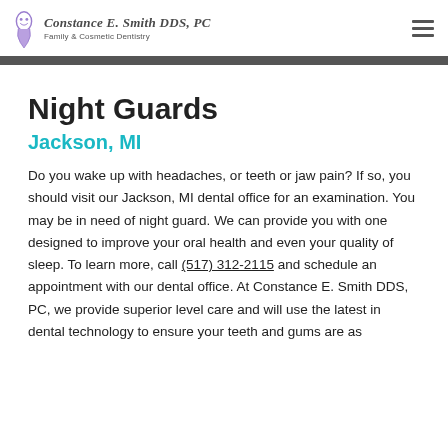Constance E. Smith DDS, PC — Family & Cosmetic Dentistry
Night Guards
Jackson, MI
Do you wake up with headaches, or teeth or jaw pain? If so, you should visit our Jackson, MI dental office for an examination. You may be in need of night guard. We can provide you with one designed to improve your oral health and even your quality of sleep. To learn more, call (517) 312-2115 and schedule an appointment with our dental office. At Constance E. Smith DDS, PC, we provide superior level care and will use the latest in dental technology to ensure your teeth and gums are as